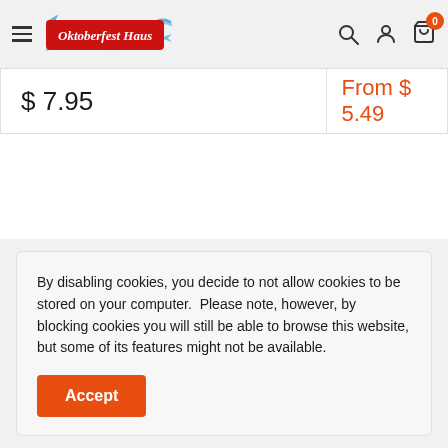[Figure (logo): Oktoberfest Haus logo — red rounded rectangle with white italic text, blue wave decoration, hamburger menu icon to the left, search/account/cart icons to the right]
$ 7.95
From $ 5.49
By disabling cookies, you decide to not allow cookies to be stored on your computer. Please note, however, by blocking cookies you will still be able to browse this website, but some of its features might not be available.
Accept